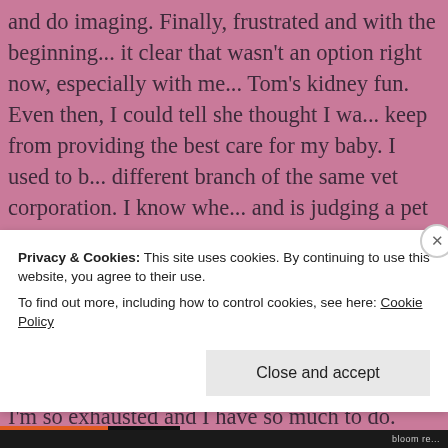and do imaging. Finally, frustrated and with the beginning... it clear that wasn't an option right now, especially with me... Tom's kidney fun. Even then, I could tell she thought I wa... keep from providing the best care for my baby. I used to b... different branch of the same vet corporation. I know wher... and is judging a pet owner. Would I love to be able to pro... everything? Yes, of course. She is my baby. But I also am... doing the very best I can for her. She gets good food, lots... affection, and I will do whatever I can for her.
I'm so exhausted and I have so much to do. Yesterday, I h... of things to complete, and then I got trapped in ADHD hy... realize it until I looked at the clock and realized that 9 ho... thought it had only been 1. A bit frustrating, but at least I c...
Privacy & Cookies: This site uses cookies. By continuing to use this website, you agree to their use.
To find out more, including how to control cookies, see here: Cookie Policy
Close and accept